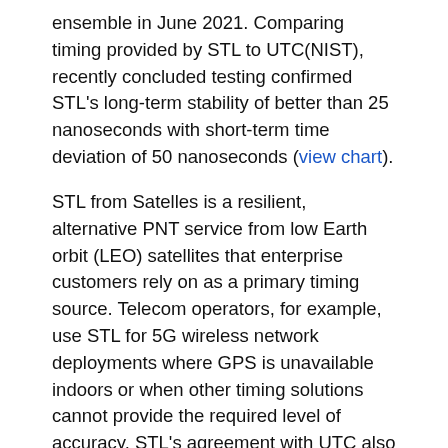ensemble in June 2021. Comparing timing provided by STL to UTC(NIST), recently concluded testing confirmed STL's long-term stability of better than 25 nanoseconds with short-term time deviation of 50 nanoseconds (view chart).
STL from Satelles is a resilient, alternative PNT service from low Earth orbit (LEO) satellites that enterprise customers rely on as a primary timing source. Telecom operators, for example, use STL for 5G wireless network deployments where GPS is unavailable indoors or when other timing solutions cannot provide the required level of accuracy. STL's agreement with UTC also is important for critical infrastructure and other applications that require an essential contingency capability to protect the operations of PNT-dependent systems and ensure survivability and resilience.